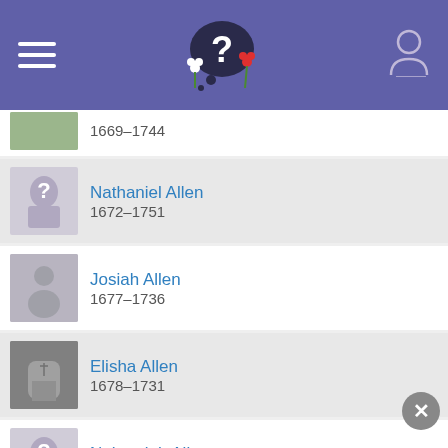App header with menu, logo, and user icon
1669–1744
Nathaniel Allen 1672–1751
Josiah Allen 1677–1736
Elisha Allen 1678–1731
Nehemiah Allen 1681–1728
Children
Recompence Cary 1688–1759
John Cary